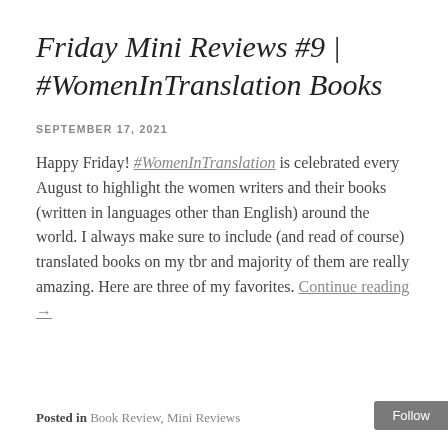Friday Mini Reviews #9 | #WomenInTranslation Books
SEPTEMBER 17, 2021
Happy Friday! #WomenInTranslation is celebrated every August to highlight the women writers and their books (written in languages other than English) around the world. I always make sure to include (and read of course) translated books on my tbr and majority of them are really amazing. Here are three of my favorites. Continue reading →
Posted in Book Review, Mini Reviews